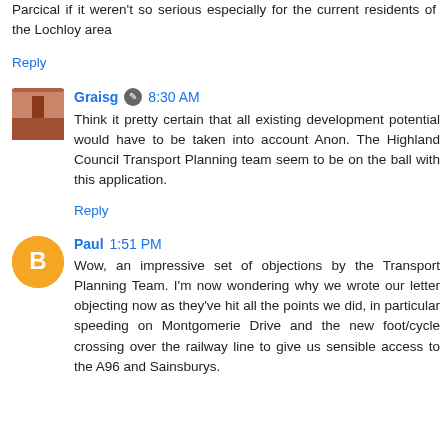Parcical if it weren't so serious especially for the current residents of the Lochloy area
Reply
Graisg 8:30 AM
Think it pretty certain that all existing development potential would have to be taken into account Anon. The Highland Council Transport Planning team seem to be on the ball with this application.
Reply
Paul 1:51 PM
Wow, an impressive set of objections by the Transport Planning Team. I'm now wondering why we wrote our letter objecting now as they've hit all the points we did, in particular speeding on Montgomerie Drive and the new foot/cycle crossing over the railway line to give us sensible access to the A96 and Sainsburys.